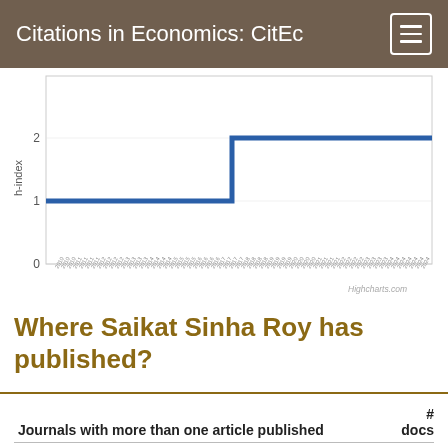Citations in Economics: CitEc
[Figure (line-chart): Step line chart showing h-index rising from 1 to 2 over time, with dense date labels on x-axis. Y-axis ticks at 0, 1, 2.]
Where Saikat Sinha Roy has published?
| Journals with more than one article published | # docs |
| --- | --- |
| DECISION: Official Journal of the Indian Institute of | 2 |